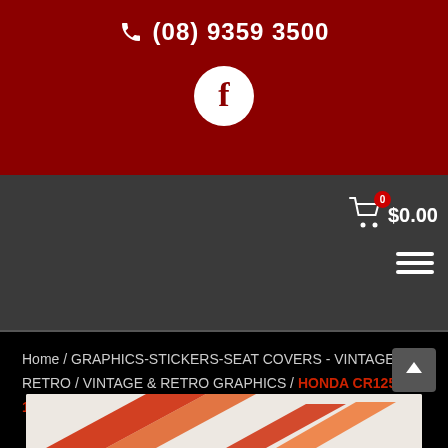(08) 9359 3500
[Figure (logo): Facebook icon circle (white circle with dark red f letter)]
0  $0.00 — cart icon with badge and hamburger menu
Home / GRAPHICS-STICKERS-SEAT COVERS - VINTAGE & RETRO / VINTAGE & RETRO GRAPHICS / HONDA CR125-500 1991 – SWINGARM DECALS
[Figure (photo): Bottom strip showing partial product image of Honda decals on white/light background]